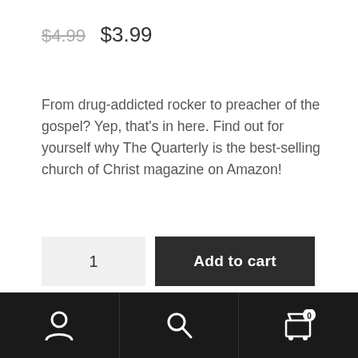$4.99  $3.99
From drug-addicted rocker to preacher of the gospel? Yep, that's in here. Find out for yourself why The Quarterly is the best-selling church of Christ magazine on Amazon!
1   Add to cart
Categories: Bible Study, biographies, Preacher Resources, Restoration Movement
user icon | search icon | cart icon (0)